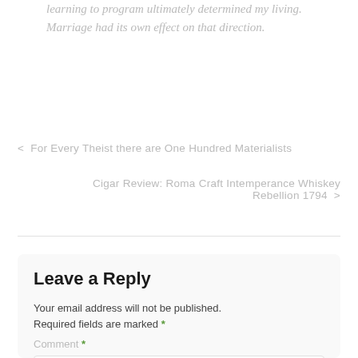learning to program ultimately determined my living. Marriage had its own effect on that direction.
< For Every Theist there are One Hundred Materialists
Cigar Review: Roma Craft Intemperance Whiskey Rebellion 1794 >
Leave a Reply
Your email address will not be published. Required fields are marked *
Comment *